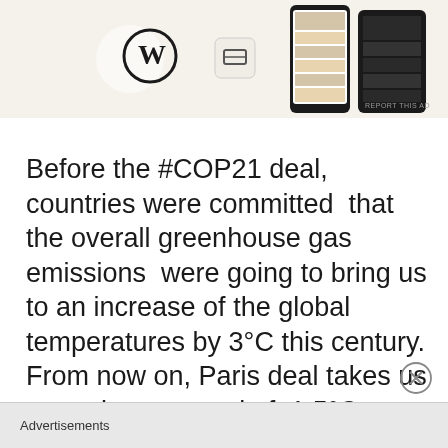[Figure (screenshot): Advertisement banner showing WordPress logo and mobile app UI screenshots of a food/menu application on a light beige background]
REPORT THIS AD
Before the #COP21 deal, countries were committed that the overall greenhouse gas emissions were going to bring us to an increase of the global temperatures by 3°C this century. From now on, Paris deal takes us toward a new goal of 1,5°C. Instead of providing solutions, COP21 has negotiated a future that is still on path to heating earth from 3 to 7 degrees Celsius (°C) within this century.
[Figure (other): Close/dismiss button (circled X icon)]
Advertisements